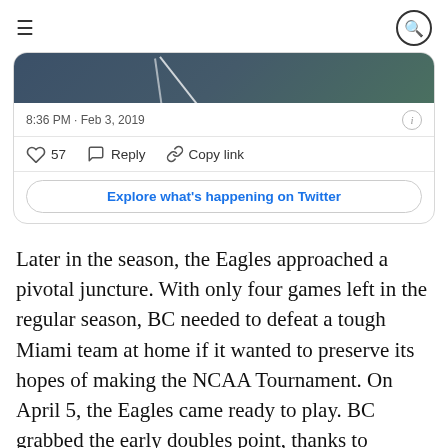≡  [search icon]
[Figure (screenshot): Partial Twitter/X embed card showing a tweet image (dark blue/green background), timestamp '8:36 PM · Feb 3, 2019' with info icon, like count 57, Reply and Copy link actions, and 'Explore what's happening on Twitter' button]
Later in the season, the Eagles approached a pivotal juncture. With only four games left in the regular season, BC needed to defeat a tough Miami team at home if it wanted to preserve its hopes of making the NCAA Tournament. On April 5, the Eagles came ready to play. BC grabbed the early doubles point, thanks to